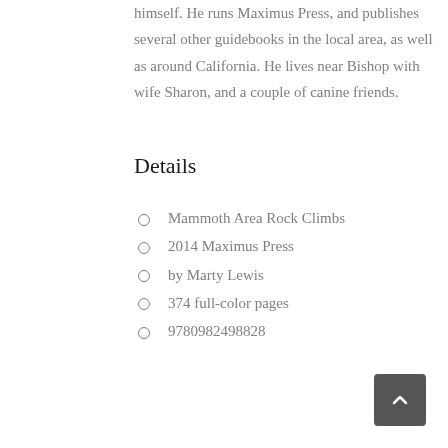himself. He runs Maximus Press, and publishes several other guidebooks in the local area, as well as around California. He lives near Bishop with wife Sharon, and a couple of canine friends.
Details
Mammoth Area Rock Climbs
2014 Maximus Press
by Marty Lewis
374 full-color pages
9780982498828